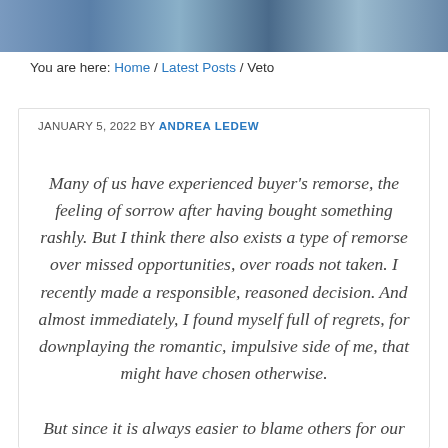[Figure (photo): Decorative header image showing flowers, likely blue and white floral arrangement outdoors]
You are here: Home / Latest Posts / Veto
JANUARY 5, 2022 BY ANDREA LEDEW
Many of us have experienced buyer’s remorse, the feeling of sorrow after having bought something rashly. But I think there also exists a type of remorse over missed opportunities, over roads not taken. I recently made a responsible, reasoned decision. And almost immediately, I found myself full of regrets, for downplaying the romantic, impulsive side of me, that might have chosen otherwise.
But since it is always easier to blame others for our